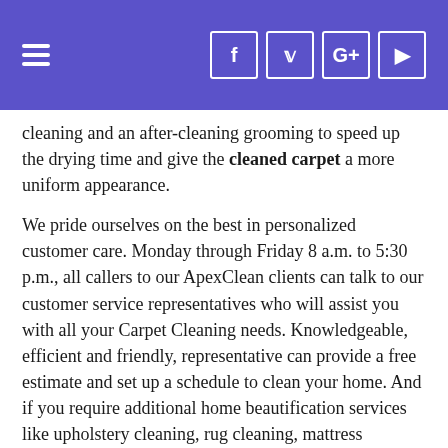[hamburger menu] [f] [twitter] [G+] [youtube]
cleaning and an after-cleaning grooming to speed up the drying time and give the cleaned carpet a more uniform appearance.
We pride ourselves on the best in personalized customer care. Monday through Friday 8 a.m. to 5:30 p.m., all callers to our ApexClean clients can talk to our customer service representatives who will assist you with all your Carpet Cleaning needs. Knowledgeable, efficient and friendly, representative can provide a free estimate and set up a schedule to clean your home. And if you require additional home beautification services like upholstery cleaning, rug cleaning, mattress cleaning, stain removal, we handle these services as well. Just give us a call and we can provide a free estimate for